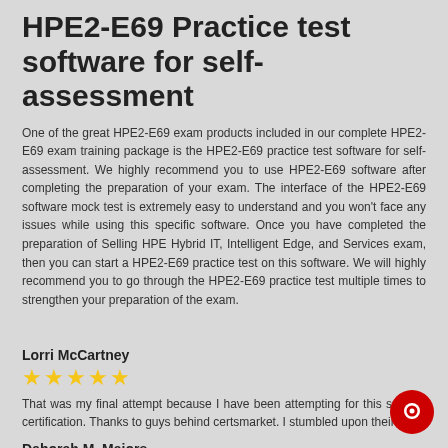HPE2-E69 Practice test software for self-assessment
One of the great HPE2-E69 exam products included in our complete HPE2-E69 exam training package is the HPE2-E69 practice test software for self-assessment. We highly recommend you to use HPE2-E69 software after completing the preparation of your exam. The interface of the HPE2-E69 software mock test is extremely easy to understand and you won't face any issues while using this specific software. Once you have completed the preparation of Selling HPE Hybrid IT, Intelligent Edge, and Services exam, then you can start a HPE2-E69 practice test on this software. We will highly recommend you to go through the HPE2-E69 practice test multiple times to strengthen your preparation of the exam.
Lorri McCartney
★★★★★
That was my final attempt because I have been attempting for this specific certification. Thanks to guys behind certsmarket. I stumbled upon their pra...
Deborah M. Majors
★★★★★